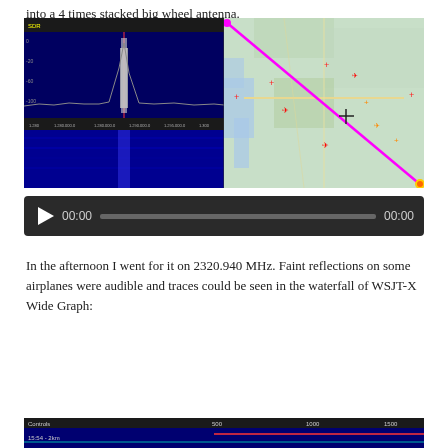into a 4 times stacked big wheel antenna.
[Figure (screenshot): Left: SDR spectrum/waterfall display showing a strong signal peak on dark blue background with frequency axis. Right: map showing a diagonal magenta line (aircraft track) over a regional map with terrain and airports marked.]
[Figure (screenshot): Audio player with play button, time display 00:00, progress bar, and end time 00:00 on dark background.]
In the afternoon I went for it on 2320.940 MHz. Faint reflections on some airplanes were audible and traces could be seen in the waterfall of WSJT-X Wide Graph:
[Figure (screenshot): WSJT-X Wide Graph waterfall display showing frequency axis with markers at 500, 1000, 1500 and a time label 15:54-2km, with a red horizontal line visible.]